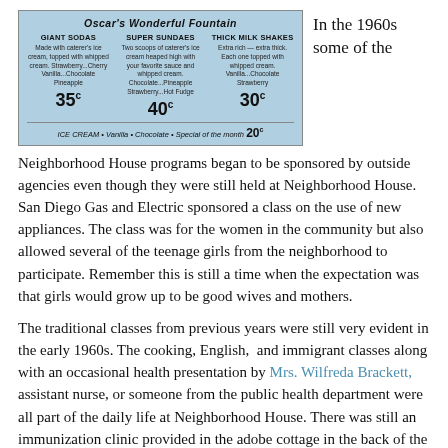[Figure (photo): Scanned menu image for Oscar's Wonderful Fountain showing Giant Sodas 35c, Super Sundaes 40c, Thick Milk Shakes 30c, and Ice Cream 20c on a light blue background.]
In the 1960s some of the
Neighborhood House programs began to be sponsored by outside agencies even though they were still held at Neighborhood House. San Diego Gas and Electric sponsored a class on the use of new appliances. The class was for the women in the community but also allowed several of the teenage girls from the neighborhood to participate. Remember this is still a time when the expectation was that girls would grow up to be good wives and mothers.
The traditional classes from previous years were still very evident in the early 1960s. The cooking, English, and immigrant classes along with an occasional health presentation by Mrs. Wilfreda Brackett, assistant nurse, or someone from the public health department were all part of the daily life at Neighborhood House. There was still an immunization clinic provided in the adobe cottage in the back of the building.